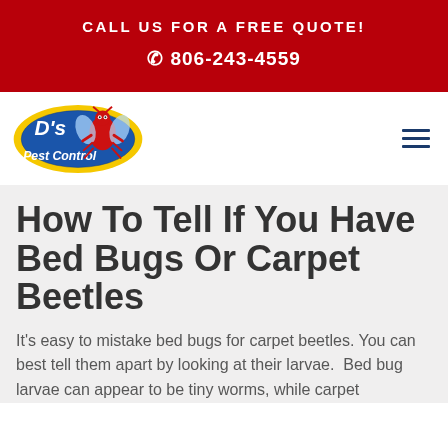CALL US FOR A FREE QUOTE!
☎ 806-243-4559
[Figure (logo): D's Pest Control logo: circular badge with blue background and yellow oval border, red mascot insect character, text "D's Pest Control" in white]
How To Tell If You Have Bed Bugs Or Carpet Beetles
It's easy to mistake bed bugs for carpet beetles. You can best tell them apart by looking at their larvae.  Bed bug larvae can appear to be tiny worms, while carpet